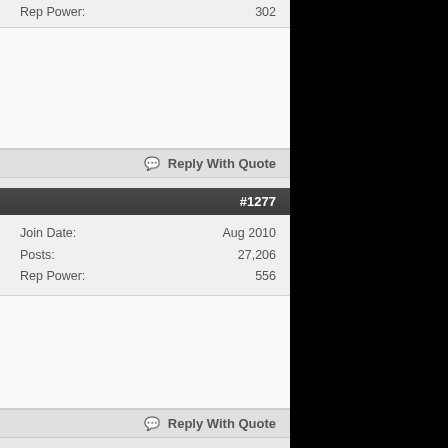Rep Power: 302
Reply With Quote
#1277
Join Date: Aug 2010
Posts: 27,206
Rep Power: 556
Reply With Quote
#1278
Join Date: Aug 2010
Posts: 15,276
Rep Power: 302